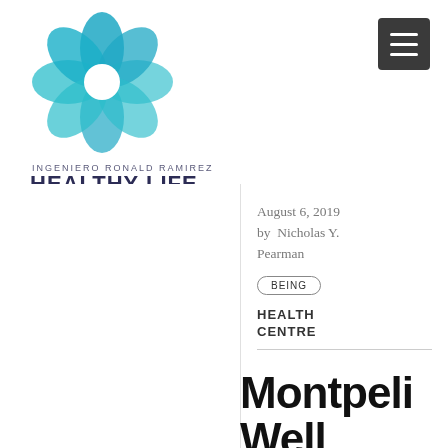[Figure (logo): Ingeniero Ronald Ramirez Healthy Life logo - teal flower/petal geometric shape with text INGENIERO RONALD RAMIREZ / HEALTHY LIFE]
August 6, 2019 by Nicholas Y. Pearman
BEING
HEALTH CENTRE
Montpeli Well being